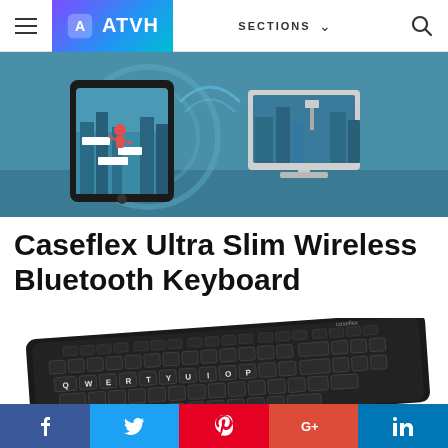ATVH — navigation bar with hamburger menu, logo, SECTIONS dropdown, search icon
[Figure (illustration): Illustrated banner showing a tablet with a superhero game and an iMac desktop on a teal/blue background]
Caseflex Ultra Slim Wireless Bluetooth Keyboard
[Figure (photo): Photo of a black Caseflex Ultra Slim Wireless Bluetooth Keyboard at an angle showing QWERTY layout]
Social share bar: Facebook, Twitter, Pinterest, Google+, LinkedIn